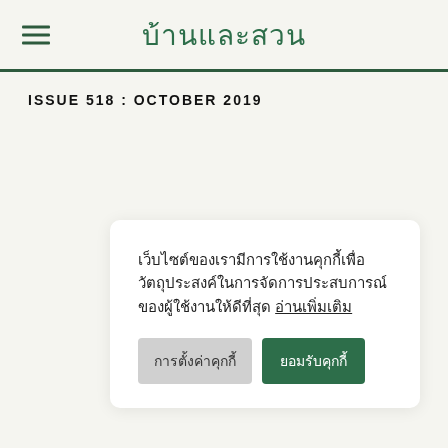บ้านและสวน
ISSUE 518 : OCTOBER 2019
เว็บไซต์ของเรามีการใช้งานคุกกี้เพื่อวัตถุประสงค์ในการจัดการประสบการณ์ของผู้ใช้งานให้ดีที่สุด อ่านเพิ่มเติม
การตั้งค่าคุกกี้
ยอมรับคุกกี้